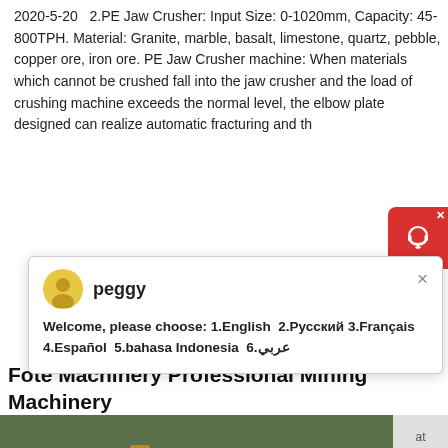2020-5-20   2.PE Jaw Crusher: Input Size: 0-1020mm, Capacity: 45-800TPH. Material: Granite, marble, basalt, limestone, quartz, pebble, copper ore, iron ore. PE Jaw Crusher machine: When materials which cannot be crushed fall into the jaw crusher and the load of crushing machine exceeds the normal level, the elbow plate designed can realize automatic fracturing and th
peggy
Welcome, please choose: 1.English  2.Русский 3.Français 4.Español  5.bahasa Indonesia  6.عربي
[Figure (photo): Mining machinery / jaw crusher setup at an outdoor site with yellow equipment and conveyor belts against a dark earthen backdrop]
Fote Machinery Professional Mining Machinery